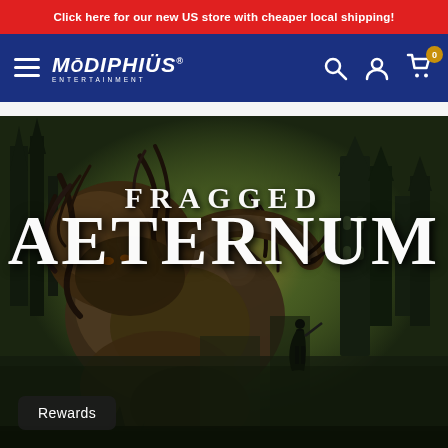Click here for our new US store with cheaper local shipping!
[Figure (logo): Modiphius Entertainment logo with hamburger menu, search, account, and cart icons on dark blue navigation bar]
[Figure (illustration): Fragged Aeternum book cover art featuring a large monstrous creature with tree-branch-like appendages confronting a dark warrior figure in a gothic city at night with a glowing light source in background]
Rewards